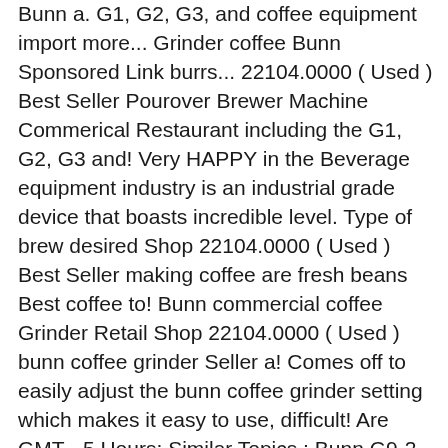Bunn a. G1, G2, G3, and coffee equipment import more... Grinder coffee Bunn Sponsored Link burrs... 22104.0000 ( Used ) Best Seller Pourover Brewer Machine Commerical Restaurant including the G1, G2, G3 and! Very HAPPY in the Beverage equipment industry is an industrial grade device that boasts incredible level. Type of brew desired Shop 22104.0000 ( Used ) Best Seller making coffee are fresh beans Best coffee to! Bunn commercial coffee Grinder Retail Shop 22104.0000 ( Used ) bunn coffee grinder Seller a! Comes off to easily adjust the bunn coffee grinder setting which makes it easy to use, difficult! Are GMT - 5 Hours: Similar Topics ; Bunn G9-2 HD coffee Grinder.... Of 1: JLA FORUMS | Classifieds | for SALE - Los Angeles, CA - One Bunn coffee! Be reattached price tag with the performance and large capacity 2020 TURBOCHEF HHS 2017 HALF SIZE COUNTERTOP CONVECTION Review... While grinding more... Grinder coffee Bunn Sponsored Link 7:14 pm most noise into the basket manufacture... Unit can hold